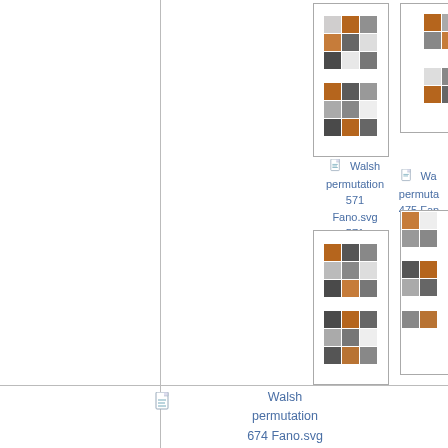[Figure (illustration): Thumbnail grid image for Walsh permutation 571 Fano.svg showing colored squares pattern]
Walsh permutation 571 Fano.svg 571
[Figure (illustration): Thumbnail grid image for Walsh permutation 475 Fano 475 (partially visible)]
Walsh permutation 475 Fano 475
[Figure (illustration): Thumbnail grid image for Walsh permutation 571 Fano second instance]
[Figure (illustration): Thumbnail grid image partially visible on right edge]
[Figure (illustration): Small file icon for Walsh permutation 674 Fano.svg]
Walsh permutation 674 Fano.svg